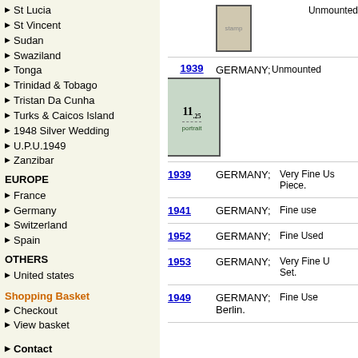St Lucia
St Vincent
Sudan
Swaziland
Tonga
Trinidad & Tobago
Tristan Da Cunha
Turks & Caicos Island
1948 Silver Wedding
U.P.U.1949
Zanzibar
EUROPE
France
Germany
Switzerland
Spain
OTHERS
United states
Shopping Basket
Checkout
View basket
Contact
Terms & Conditions
[Figure (photo): Stamp image top]
1939 - GERMANY; Unmounted
[Figure (photo): 1939 stamp with 11.25 label, green portrait stamp]
1939 - GERMANY; Unmounted
1939 - GERMANY; Very Fine Used Piece.
1941 - GERMANY; Fine use
1952 - GERMANY; Fine Used
1953 - GERMANY; Very Fine Used Set.
1949 - GERMANY; Berlin. Fine Use